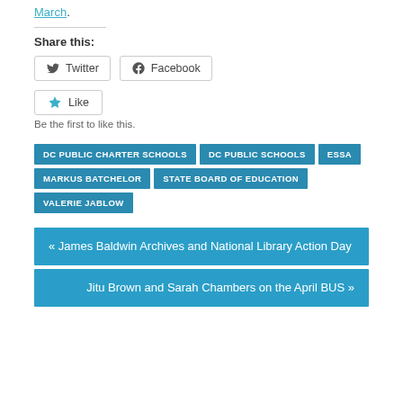March.
Share this:
Twitter  Facebook
Like
Be the first to like this.
DC PUBLIC CHARTER SCHOOLS
DC PUBLIC SCHOOLS
ESSA
MARKUS BATCHELOR
STATE BOARD OF EDUCATION
VALERIE JABLOW
« James Baldwin Archives and National Library Action Day
Jitu Brown and Sarah Chambers on the April BUS »